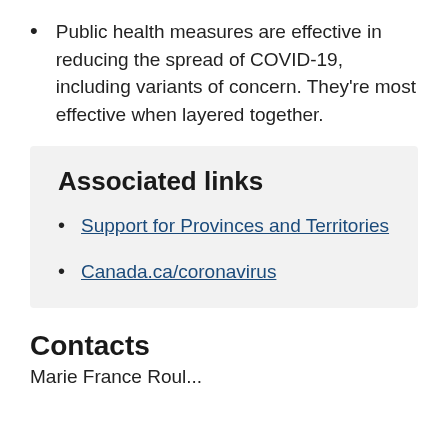Public health measures are effective in reducing the spread of COVID-19, including variants of concern. They're most effective when layered together.
Associated links
Support for Provinces and Territories
Canada.ca/coronavirus
Contacts
Marie France Roul...